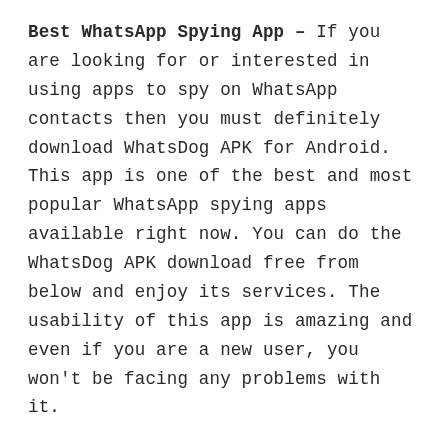Best WhatsApp Spying App – If you are looking for or interested in using apps to spy on WhatsApp contacts then you must definitely download WhatsDog APK for Android. This app is one of the best and most popular WhatsApp spying apps available right now. You can do the WhatsDog APK download free from below and enjoy its services. The usability of this app is amazing and even if you are a new user, you won't be facing any problems with it.
Keep Everything Organized – Another good thing to know about WhatsDog is that there is a WhatsDog Calendar feature in it. As soon as you will start spying on any of your WhatsApp contacts,